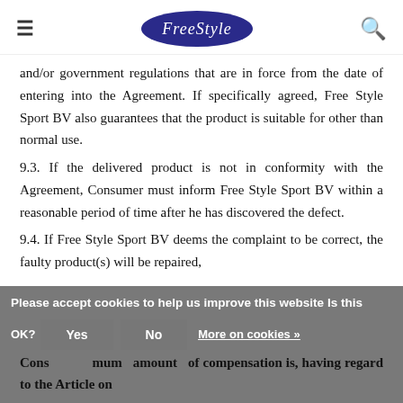≡  FreeStyle  🔍
and/or government regulations that are in force from the date of entering into the Agreement. If specifically agreed, Free Style Sport BV also guarantees that the product is suitable for other than normal use.
9.3. If the delivered product is not in conformity with the Agreement, Consumer must inform Free Style Sport BV within a reasonable period of time after he has discovered the defect.
9.4. If Free Style Sport BV deems the complaint to be correct, the faulty product(s) will be repaired, replaced or...The maximum amount of compensation is, having regard to the Article on
Please accept cookies to help us improve this website Is this OK? Yes No More on cookies »